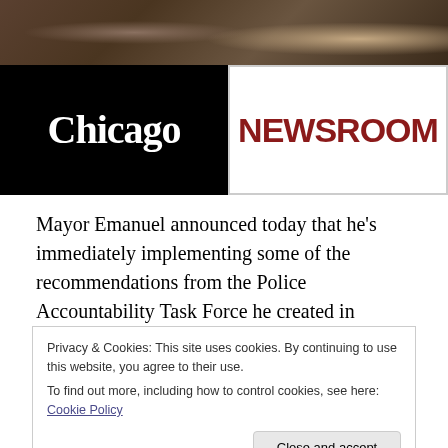[Figure (photo): Photo strip at top showing people at a desk, with Chicago Newsroom logo below — black left panel with 'Chicago' in white serif and white right panel with 'NEWSROOM' in dark red.]
Mayor Emanuel announced today that he's immediately implementing some of the recommendations from the Police Accountability Task Force he created in December.
That comes as good news to two of the report's authors,
Privacy & Cookies: This site uses cookies. By continuing to use this website, you agree to their use.
To find out more, including how to control cookies, see here: Cookie Policy
Close and accept